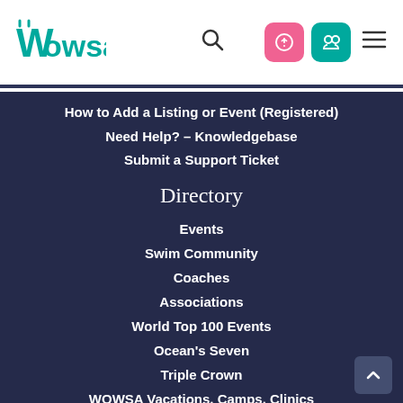WOWSA
How to Add a Listing or Event (Registered)
Need Help? – Knowledgebase
Submit a Support Ticket
Directory
Events
Swim Community
Coaches
Associations
World Top 100 Events
Ocean's Seven
Triple Crown
WOWSA Vacations, Camps, Clinics